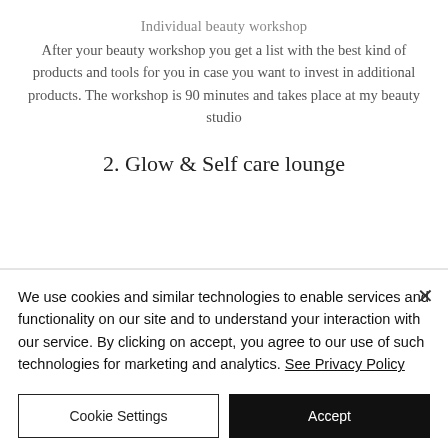Individual beauty workshop
After your beauty workshop you get a list with the best kind of products and tools for you in case you want to invest in additional products. The workshop is 90 minutes and takes place at my beauty studio
2. Glow & Self care lounge
We use cookies and similar technologies to enable services and functionality on our site and to understand your interaction with our service. By clicking on accept, you agree to our use of such technologies for marketing and analytics. See Privacy Policy